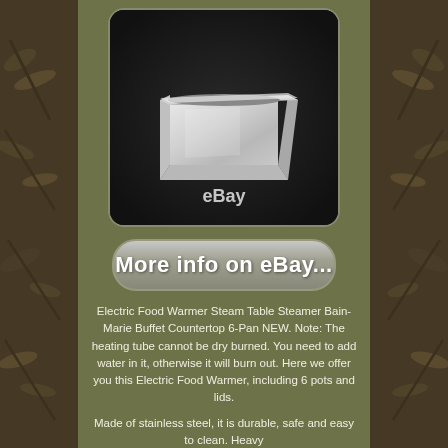[Figure (photo): Stainless steel food pan/insert container photographed against dark background with eBay watermark]
[Figure (other): Button/banner reading 'More info on eBay...' with rounded rectangle shape and grey gradient background]
Electric Food Warmer Steam Table Steamer Bain-Marie Buffet Countertop 6-Pan NEW. Note: The heating tube cannot be dry burned. You need to add water in it, otherwise it will burn out. Here we offer you this Electric Food Warmer, including 6 pots and lids.
Made of stainless steel, it is durable, safe and easy to clean. Heavy